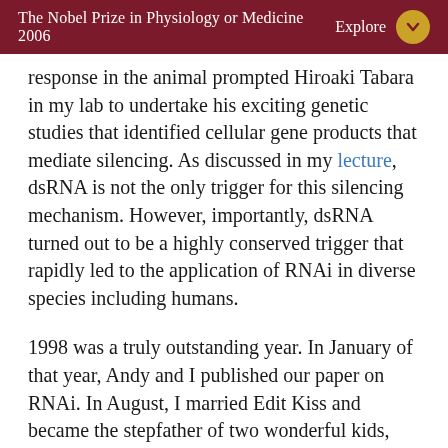The Nobel Prize in Physiology or Medicine 2006   Explore
response in the animal prompted Hiroaki Tabara in my lab to undertake his exciting genetic studies that identified cellular gene products that mediate silencing. As discussed in my lecture, dsRNA is not the only trigger for this silencing mechanism. However, importantly, dsRNA turned out to be a highly conserved trigger that rapidly led to the application of RNAi in diverse species including humans.
1998 was a truly outstanding year. In January of that year, Andy and I published our paper on RNAi. In August, I married Edit Kiss and became the stepfather of two wonderful kids, David and Sarah Apotheker. In the year 2000 our daughter Victoria was born. In an unfortunate twist of fate, Victoria